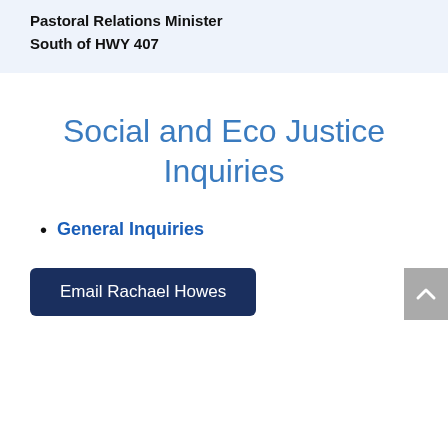Pastoral Relations Minister
South of HWY 407
Social and Eco Justice Inquiries
General Inquiries
Email Rachael Howes